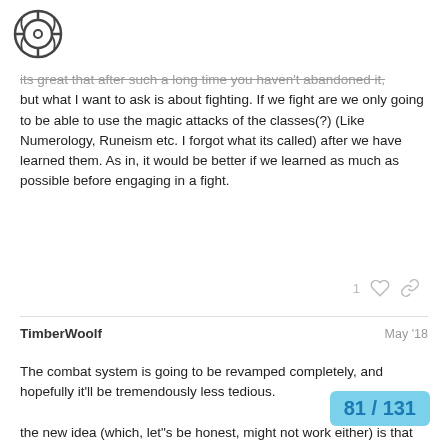[Figure (logo): Circular crosshair-style logo icon in top left]
Its great that after such a long time you haven't abandoned it, but what I want to ask is about fighting. If we fight are we only going to be able to use the magic attacks of the classes(?) (Like Numerology, Runeism etc. I forgot what its called) after we have learned them. As in, it would be better if we learned as much as possible before engaging in a fight.
1 ♡ 🔗
TimberWoolf    May '18
The combat system is going to be revamped completely, and hopefully it'll be tremendously less tedious.

the new idea (which, let"s be honest, might not work either) is that fro the start you'll be able to use any school of magic (numerology, runism, etc) and all it's spells but initially they'll get better as you use and practise them, or something is improvised. To at some point after using it...
81 / 131